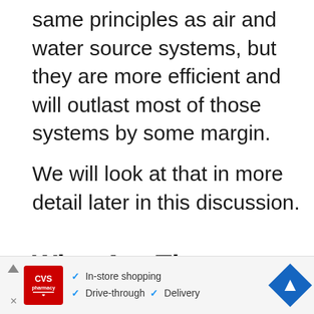same principles as air and water source systems, but they are more efficient and will outlast most of those systems by some margin.
We will look at that in more detail later in this discussion.
What Are The Different Types Of Hybrid Heat
[Figure (other): CVS Pharmacy advertisement banner showing CVS logo with checkmarks for In-store shopping, Drive-through, and Delivery, with a blue navigation arrow icon on the right.]